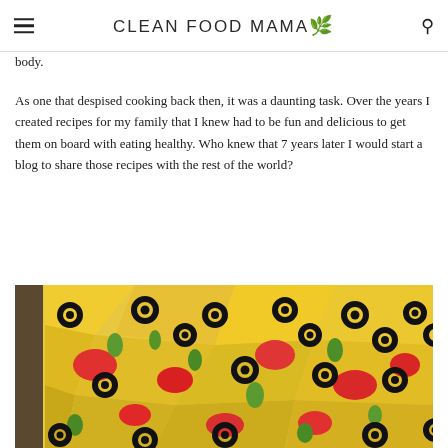CLEAN FOOD MAMA
body.
As one that despised cooking back then, it was a daunting task. Over the years I created recipes for my family that I knew had to be fun and delicious to get them on board with eating healthy. Who knew that 7 years later I would start a blog to share those recipes with the rest of the world?
[Figure (photo): A baking tray filled with nachos topped with black olives, diced tomatoes, and sliced green onions.]